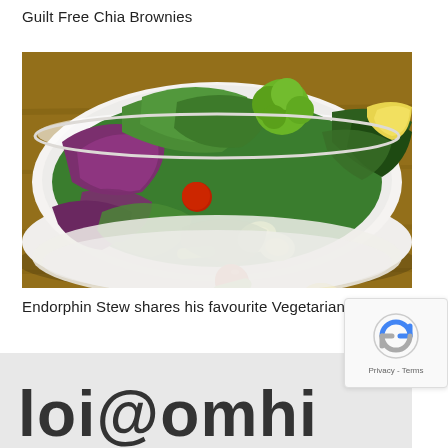Guilt Free Chia Brownies
[Figure (photo): A large white bowl filled with a colorful mixed vegetarian salad including green leafy vegetables, purple cabbage, cherry tomatoes (red and yellow), edamame, cucumber, broccoli, and other vegetables, placed on a wooden table surface.]
Endorphin Stew shares his favourite Vegetarian Recipes!
[Figure (other): reCAPTCHA widget showing a circular arrow icon and 'Privacy - Terms' text]
loi@omhi